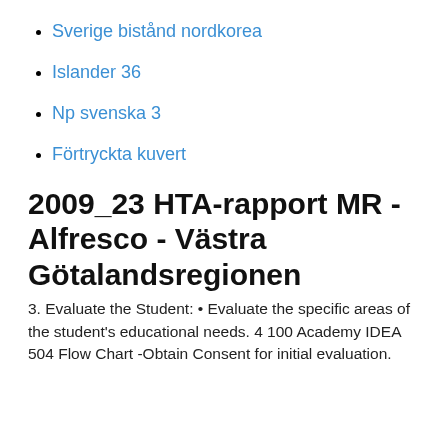Sverige bistånd nordkorea
Islander 36
Np svenska 3
Förtryckta kuvert
2009_23 HTA-rapport MR - Alfresco - Västra Götalandsregionen
3. Evaluate the Student: • Evaluate the specific areas of the student's educational needs. 4  100 Academy IDEA 504 Flow Chart -Obtain Consent for initial evaluation.